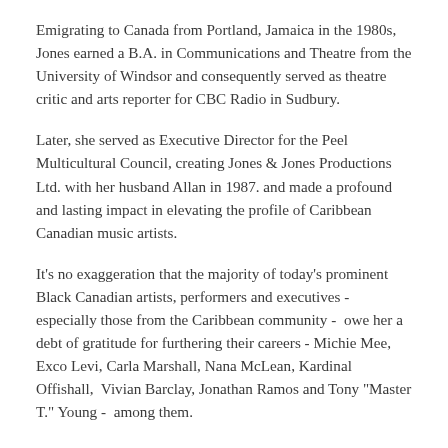Emigrating to Canada from Portland, Jamaica in the 1980s, Jones earned a B.A. in Communications and Theatre from the University of Windsor and consequently served as theatre critic and arts reporter for CBC Radio in Sudbury.
Later, she served as Executive Director for the Peel Multicultural Council, creating Jones & Jones Productions Ltd. with her husband Allan in 1987. and made a profound and lasting impact in elevating the profile of Caribbean Canadian music artists.
It's no exaggeration that the majority of today's prominent Black Canadian artists, performers and executives - especially those from the Caribbean community -  owe her a debt of gratitude for furthering their careers - Michie Mee, Exco Levi, Carla Marshall, Nana McLean, Kardinal Offishall,  Vivian Barclay, Jonathan Ramos and Tony "Master T." Young -  among them.